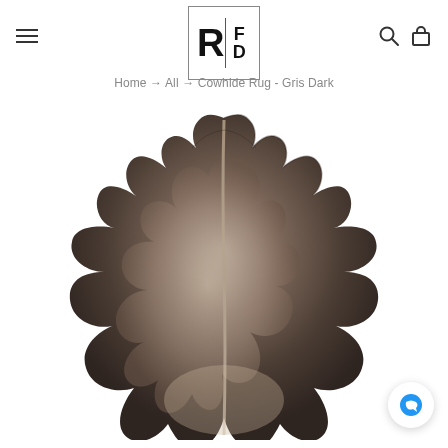[Figure (logo): RFD logo in a bordered box with large R on left, vertical divider, F and D stacked on right]
Home → All → Cowhide Rug - Gris Dark
[Figure (photo): Dark grey/brown cowhide rug laid flat on white background, showing the hide shape with irregular edges and a lighter center spine line]